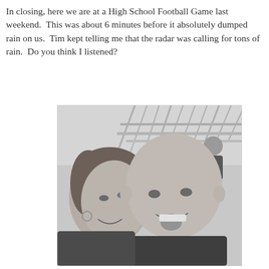In closing, here we are at a High School Football Game last weekend.  This was about 6 minutes before it absolutely dumped rain on us.  Tim kept telling me that the radar was calling for tons of rain.  Do you think I listened?
[Figure (photo): Black and white photo of a man and woman smiling at the camera, taken at a high school football game. Stadium structures visible in the background.]